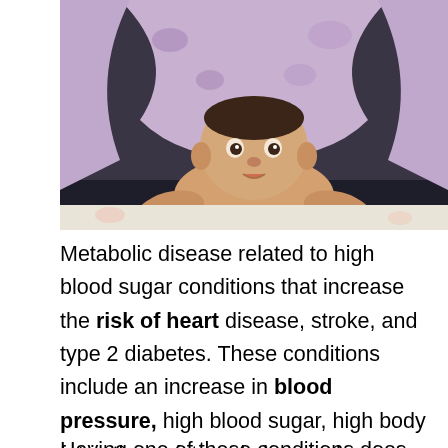[Figure (photo): A baby lying on its stomach under a purple/lavender floral blanket, looking up at the camera with a curious expression. The baby is on a light-colored surface.]
Metabolic disease related to high blood sugar conditions that increase the risk of heart disease, stroke, and type 2 diabetes. These conditions include an increase in blood pressure, high blood sugar, high body fat in the waist, and abnormal cholesterol or triglyceride levels.
Having one of these conditions does not mean...